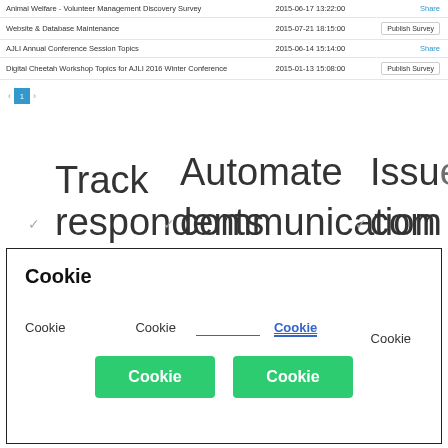|  |  |  |
| --- | --- | --- |
| Animal Welfare - Volunteer Management Discovery Survey | 2015-06-17 13:22:00 | Share |
| Website & Database Maintenance | 2015-07-21 18:15:00 | Publish Survey |
| AJLI Annual Conference Session Topics | 2015-06-14 15:14:00 | Share |
| Digital Cheetah Workshop Topics for AJLI 2016 Winter Conference | 2015-01-13 15:08:00 | Publish Survey |
Track respondents
Automate communication to non-
Issue com of su
Cookie
Cookie
Cookie  Cookie  [input]  Cookie
Cookie  Cookie